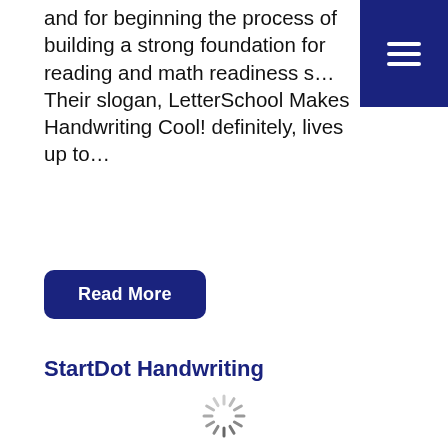and for beginning the process of building a strong foundation for reading and math readiness s… Their slogan, LetterSchool Makes Handwriting Cool! definitely, lives up to…
[Figure (screenshot): Dark blue hamburger menu button in top-right corner with three white horizontal lines]
Read More
StartDot Handwriting
[Figure (other): Loading spinner / buffering wheel icon]
StartDOT Handwriting, by TrishCO LLC,  is a beautifully crafted app. I am finding more and more that really outstanding apps are going by, under the radar. A quick pouf at their launch and then they somewhat disappear. Finding one is like discovering buried treasure. StartDOT Handwriting is like discovering a field of emeralds on a forest…